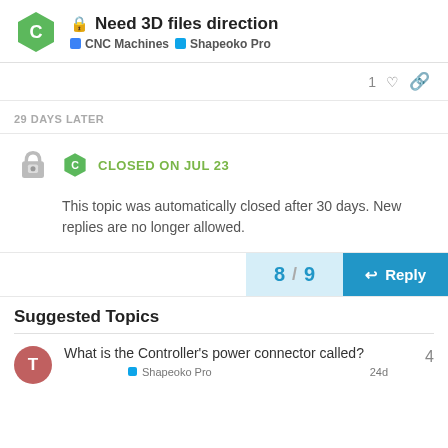Need 3D files direction — CNC Machines / Shapeoko Pro
1 (like)
29 DAYS LATER
CLOSED ON JUL 23
This topic was automatically closed after 30 days. New replies are no longer allowed.
8 / 9
Reply
Suggested Topics
What is the Controller's power connector called?
Shapeoko Pro
24d
4